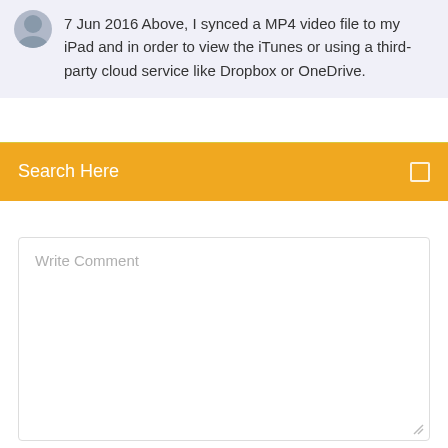7 Jun 2016 Above, I synced a MP4 video file to my iPad and in order to view the iTunes or using a third-party cloud service like Dropbox or OneDrive.
Search Here
Write Comment